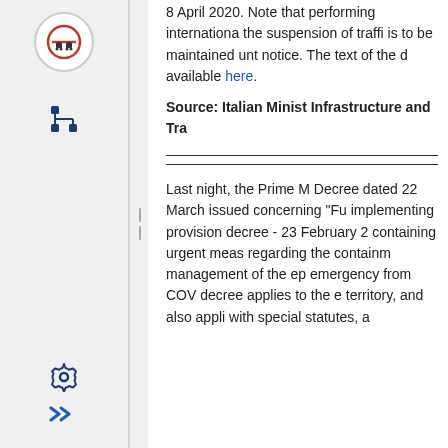8 April 2020. Note that performing international the suspension of traffic is to be maintained until further notice. The text of the decree is available here.
Source: Italian Ministry of Infrastructure and Transport
Last night, the Prime Minister's Decree dated 22 March 2020 was issued concerning "Further implementing provisions of the decree - 23 February 2020, containing urgent measures regarding the containment and management of the epidemiological emergency from COVID-19". The decree applies to the entire Italian territory, and also applies to regions with special statutes, and